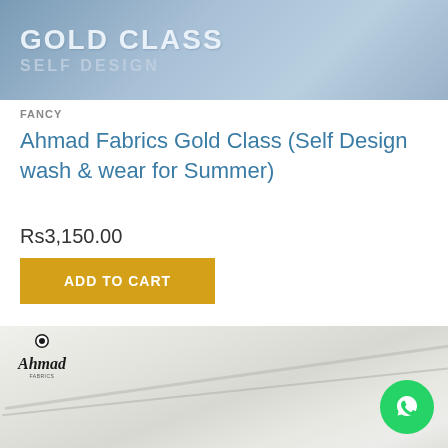[Figure (photo): Blue-toned banner with 'GOLD CLASS' in large white text and 'SELF DESIGN' in lighter text below, on a gradient blue-grey background with horizontal stripe texture]
FANCY
Ahmad Fabrics Gold Class (Self Design wash & wear for Summer)
Rs3,150.00
ADD TO CART
[Figure (photo): Close-up photo of white/off-white fabric with soft folds and Ahmad Fabrics logo in top-left corner, with a green WhatsApp button in the bottom-right corner]